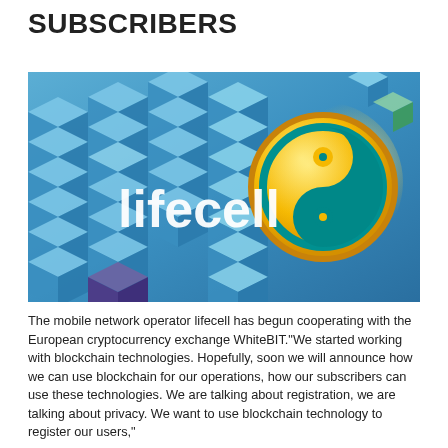SUBSCRIBERS
[Figure (photo): Lifecell mobile network operator logo with brand name 'lifecell' in white text on a blue 3D cube background, with a yellow and teal circular logo on the right side.]
The mobile network operator lifecell has begun cooperating with the European cryptocurrency exchange WhiteBIT."We started working with blockchain technologies. Hopefully, soon we will announce how we can use blockchain for our operations, how our subscribers can use these technologies. We are talking about registration, we are talking about privacy. We want to use blockchain technology to register our users,"